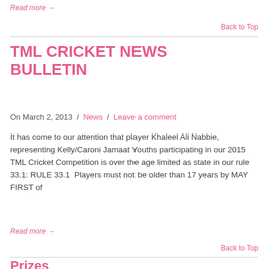Read more →
Back to Top
TML CRICKET NEWS BULLETIN
On March 2, 2013 / News / Leave a comment
It has come to our attention that player Khaleel Ali Nabbie, representing Kelly/Caroni Jamaat Youths participating in our 2015 TML Cricket Competition is over the age limited as state in our rule 33.1: RULE 33.1  Players must not be older than 17 years by MAY FIRST of
Read more →
Back to Top
Prizes